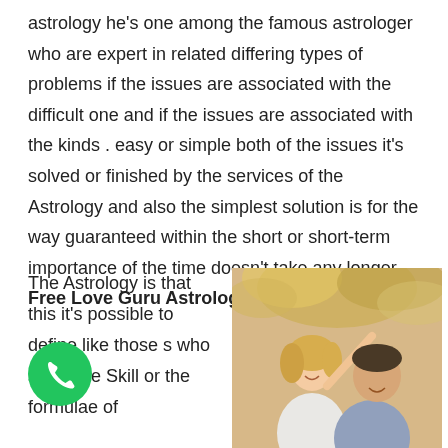astrology he's one among the famous astrologer who are expert in related differing types of problems if the issues are associated with the difficult one and if the issues are associated with the kinds . easy or simple both of the issues it's solved or finished by the services of the Astrology and also the simplest solution is for the way guaranteed within the short or short-term importance of the time doesn't take any longer. Free Love Guru Astrologer in Saudi Arabia
The Astrology is that this it's possible to define like those s who study the Skill or the formulae of
[Figure (photo): A smiling couple, woman pointing upward, man behind her, outdoors with autumn foliage background]